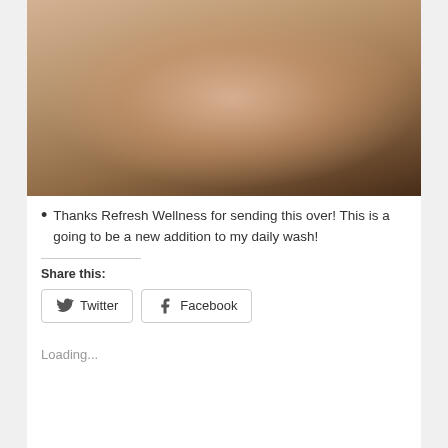[Figure (photo): Person photographed from behind wearing a colorful bikini, arm raised, in what appears to be a bathroom/shower setting]
Thanks Refresh Wellness for sending this over! This is a going to be a new addition to my daily wash!
Share this:
Twitter   Facebook
Loading...